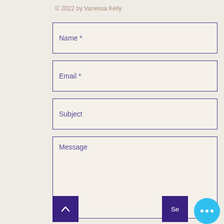© 2022 by Vanessa Kelly
Name *
Email *
Subject
Message
[Figure (screenshot): Up arrow button (dark purple square) and Send button (dark purple square) with a cyan/blue circular more options button with three dots]